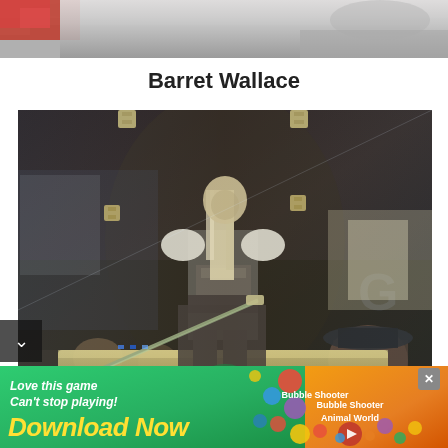[Figure (photo): Top partial photo of a display case with metallic surfaces and reddish elements]
Barret Wallace
[Figure (photo): Photo of a figurine/cosplay display of a character (resembling Sephiroth from Final Fantasy VII) in dark armor with long silver hair, holding a long sword, displayed behind glass in a dark setting with people visible in the background. A partial 'GE' logo visible on the right.]
[Figure (photo): Advertisement banner: 'Love this game Can't stop playing! Download Now' with colorful game graphics and 'Bubble Shooter Animal World' game shown on the right side with an X close button]